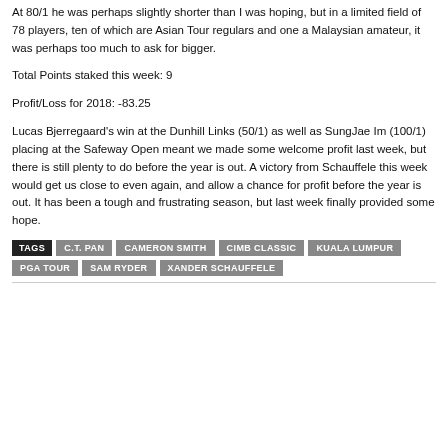At 80/1 he was perhaps slightly shorter than I was hoping, but in a limited field of 78 players, ten of which are Asian Tour regulars and one a Malaysian amateur, it was perhaps too much to ask for bigger.
Total Points staked this week: 9
Profit/Loss for 2018: -83.25
Lucas Bjerregaard's win at the Dunhill Links (50/1) as well as SungJae Im (100/1) placing at the Safeway Open meant we made some welcome profit last week, but there is still plenty to do before the year is out. A victory from Schauffele this week would get us close to even again, and allow a chance for profit before the year is out. It has been a tough and frustrating season, but last week finally provided some hope.
TAGS  C.T. PAN  CAMERON SMITH  CIMB CLASSIC  KUALA LUMPUR  PGA TOUR  SAM RYDER  XANDER SCHAUFFELE